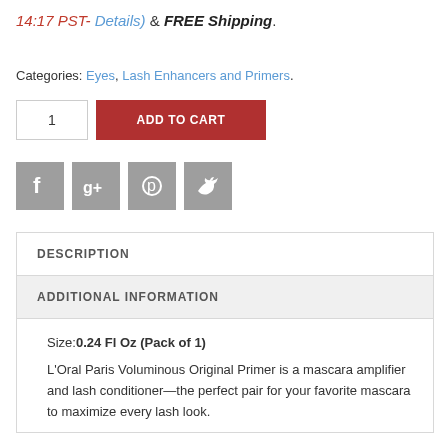14:17 PST- Details) & FREE Shipping.
Categories: Eyes, Lash Enhancers and Primers.
[Figure (screenshot): Quantity input box showing '1' and red ADD TO CART button]
[Figure (infographic): Social media share icons: Facebook, Google+, Pinterest, Twitter in grey squares]
DESCRIPTION
ADDITIONAL INFORMATION
Size:0.24 Fl Oz (Pack of 1)
L'Oral Paris Voluminous Original Primer is a mascara amplifier and lash conditioner—the perfect pair for your favorite mascara to maximize every lash look.